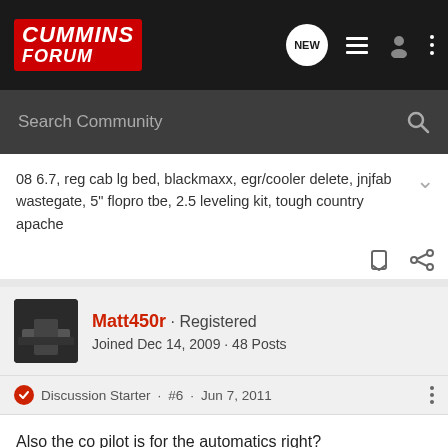Cummins Forum
08 6.7, reg cab lg bed, blackmaxx, egr/cooler delete, jnjfab wastegate, 5" flopro tbe, 2.5 leveling kit, tough country apache
Matt450r · Registered
Joined Dec 14, 2009 · 48 Posts
Discussion Starter · #6 · Jun 7, 2011
Also the co pilot is for the automatics right?
[Figure (screenshot): Diesel Auto Power .com advertisement banner with blue italic text on dark background]